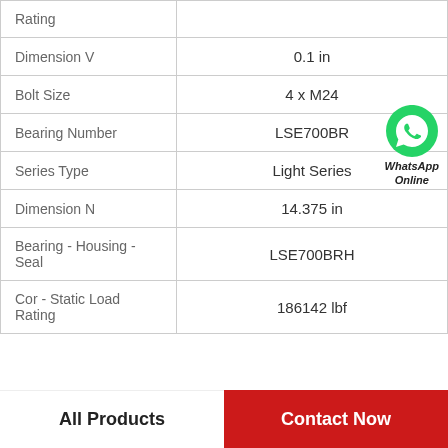| Property | Value |
| --- | --- |
| Rating |  |
| Dimension V | 0.1 in |
| Bolt Size | 4 x M24 |
| Bearing Number | LSE700BR |
| Series Type | Light Series |
| Dimension N | 14.375 in |
| Bearing - Housing - Seal | LSE700BRH |
| Cor - Static Load Rating | 186142 lbf |
All Products
Contact Now